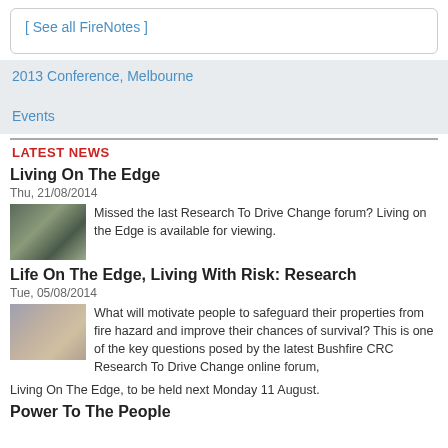[ See all FireNotes ]
2013 Conference, Melbourne
Events
LATEST NEWS
Living On The Edge
Thu, 21/08/2014
Missed the last Research To Drive Change forum? Living on the Edge is available for viewing.
Life On The Edge, Living With Risk: Research
Tue, 05/08/2014
What will motivate people to safeguard their properties from fire hazard and improve their chances of survival? This is one of the key questions posed by the latest Bushfire CRC Research To Drive Change online forum, Living On The Edge, to be held next Monday 11 August.
Power To The People